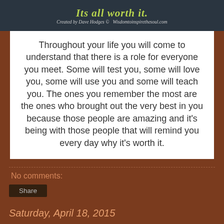[Figure (illustration): Dark background banner image with italic bold text 'Its all worth it.' in yellow-green and smaller italic text 'Created by Dave Hodges © Wisdomtoinspirethesoul.com']
Throughout your life you will come to understand that there is a role for everyone you meet. Some will test you, some will love you, some will use you and some will teach you. The ones you remember the most are the ones who brought out the very best in you because those people are amazing and it's being with those people that will remind you every day why it's worth it.
No comments:
Share
Saturday, April 18, 2015